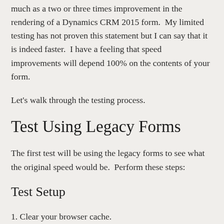much as a two or three times improvement in the rendering of a Dynamics CRM 2015 form. My limited testing has not proven this statement but I can say that it is indeed faster. I have a feeling that speed improvements will depend 100% on the contents of your form.
Let's walk through the testing process.
Test Using Legacy Forms
The first test will be using the legacy forms to see what the original speed would be. Perform these steps:
Test Setup
1. Clear your browser cache.